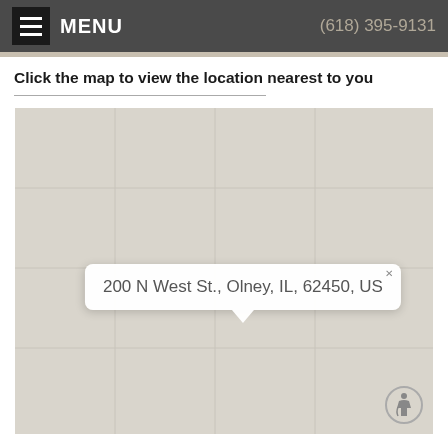MENU   (618) 395-9131
Click the map to view the location nearest to you
[Figure (map): A map showing a location popup with address: 200 N West St., Olney, IL, 62450, US]
200 N West St., Olney, IL, 62450, US